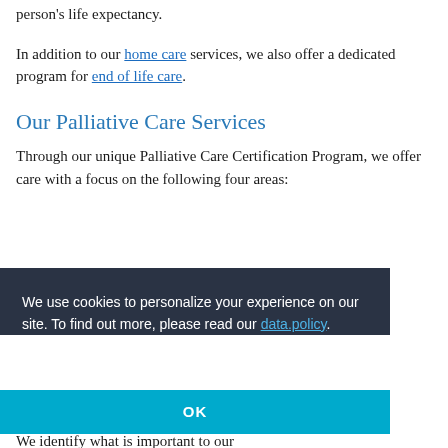person's life expectancy.
In addition to our home care services, we also offer a dedicated program for end of life care.
Our Palliative Care Services
Through our unique Palliative Care Certification Program, we offer care with a focus on the following four areas:
We use cookies to personalize your experience on our site. To find out more, please read our data.policy.
OK
We identify what is important to our